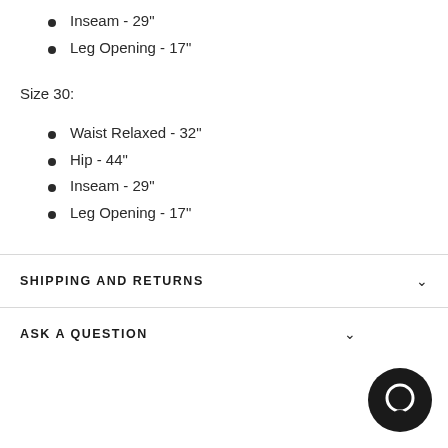Inseam - 29"
Leg Opening - 17"
Size 30:
Waist Relaxed - 32"
Hip - 44"
Inseam - 29"
Leg Opening - 17"
SHIPPING AND RETURNS
ASK A QUESTION